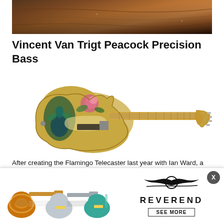[Figure (photo): Top portion of a dark reddish-brown decorative surface, partially cropped, showing abstract guitar or wood-grain texture.]
Vincent Van Trigt Peacock Precision Bass
[Figure (photo): A Fender Precision Bass guitar with hand-painted artwork depicting a peacock and floral motifs on a yellowed vintage body, with a maple neck.]
After creating the Flamingo Telecaster last year with Ian Ward, a prolific parrot breeder and aviary enthusiast, Vincent Van Trigt sought out the opportunity to work with Ward again, inspired by his illustrations of birds. Vincent Van Tr... of transfo... is what m... a journey and reinvents their goals. The 1958 Peacock...
[Figure (photo): Reverend Guitars advertisement showing three electric guitars (sunburst, silver/white, and teal) alongside the Reverend brand logo and a SEE MORE button.]